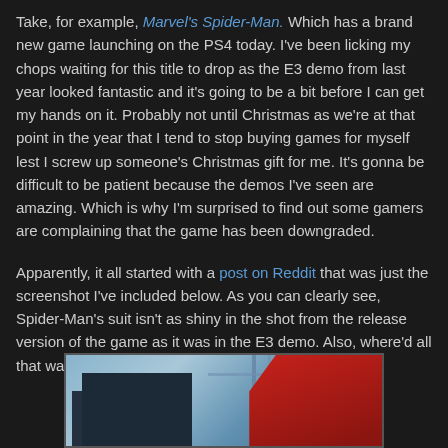Take, for example, Marvel's Spider-Man. Which has a brand new game launching on the PS4 today. I've been licking my chops waiting for this title to drop as the E3 demo from last year looked fantastic and it's going to be a bit before I can get my hands on it. Probably not until Christmas as we're at that point in the year that I tend to stop buying games for myself lest I screw up someone's Christmas gift for me. It's gonna be difficult to be patient because the demos I've seen are amazing. Which is why I'm surprised to find out some gamers are complaining that the game has been downgraded.
Apparently, it all started with a post on Reddit that was just the screenshot I've included below. As you can clearly see, Spider-Man's suit isn't as shiny in the shot from the release version of the game as it was in the E3 demo. Also, where'd all that water go?
[Figure (photo): Screenshot comparison showing Spider-Man game with city background and Spider-Man figure in red suit on the right, with blue-gray urban/bridge environment]